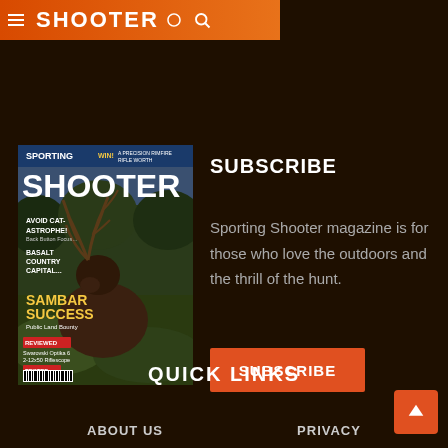SHOOTER
SUBSCRIBE
[Figure (illustration): Sporting Shooter magazine cover showing a sambar deer with large antlers in vegetation. Cover text includes: SPORTING SHOOTER, WIN!, AVOID CATASTROPHE!, BASALT COUNTRY CAPITAL, SAMBAR SUCCESS Public Land Bounty, REVIEWED, TESTED]
Sporting Shooter magazine is for those who love the outdoors and the thrill of the hunt.
SUBSCRIBE
QUICK LINKS
ABOUT US
PRIVACY